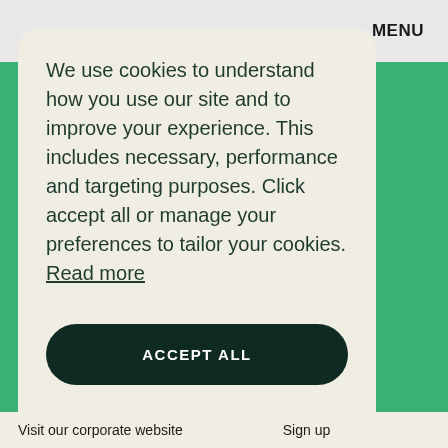MENU
We use cookies to understand how you use our site and to improve your experience. This includes necessary, performance and targeting purposes. Click accept all or manage your preferences to tailor your cookies. Read more
ACCEPT ALL
MANAGE PREFERENCES
Visit our corporate website   Sign up